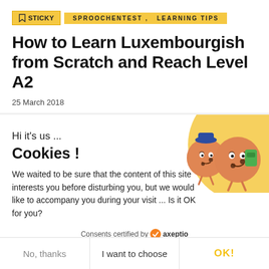STICKY  SPROOCHENTEST , LEARNING TIPS
How to Learn Luxembourgish from Scratch and Reach Level A2
25 March 2018
Hi it's us ...
Cookies !
[Figure (illustration): Two cute cartoon cookie characters with faces on a yellow/orange background]
We waited to be sure that the content of this site interests you before disturbing you, but we would like to accompany you during your visit ... Is it OK for you?
Consents certified by axeptio
No, thanks  I want to choose  OK!